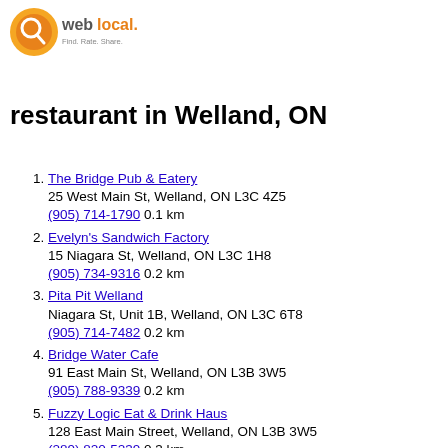[Figure (logo): weblocal.ca logo with orange circle icon and tagline 'Find. Rate. Share.']
restaurant in Welland, ON
The Bridge Pub & Eatery
25 West Main St, Welland, ON L3C 4Z5
(905) 714-1790 0.1 km
Evelyn's Sandwich Factory
15 Niagara St, Welland, ON L3C 1H8
(905) 734-9316 0.2 km
Pita Pit Welland
Niagara St, Unit 1B, Welland, ON L3C 6T8
(905) 714-7482 0.2 km
Bridge Water Cafe
91 East Main St, Welland, ON L3B 3W5
(905) 788-9339 0.2 km
Fuzzy Logic Eat & Drink Haus
128 East Main Street, Welland, ON L3B 3W5
(289) 820-5239 0.3 km
The Venice Pizza and Pasta Bar
128 East Main St., Welland, ON L3B 3W2